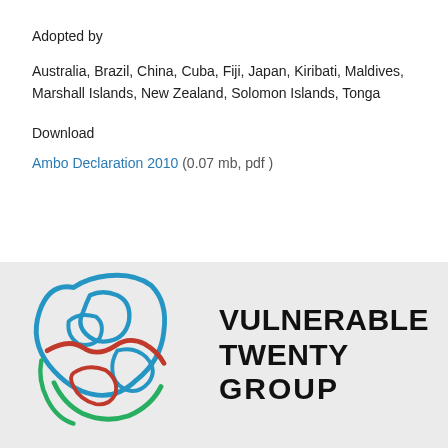Adopted by
Australia, Brazil, China, Cuba, Fiji, Japan, Kiribati, Maldives, Marshall Islands, New Zealand, Solomon Islands, Tonga
Download
Ambo Declaration 2010 (0.07 mb, pdf )
[Figure (logo): Vulnerable Twenty Group logo — a stylized globe with blue, red, and green curved lines — accompanied by the text VULNERABLE TWENTY GROUP in bold black uppercase letters]